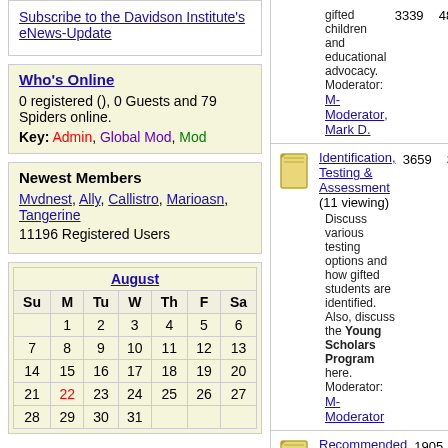Subscribe to the Davidson Institute's eNews-Update
Who's Online
0 registered (), 0 Guests and 79 Spiders online.
Key: Admin, Global Mod, Mod
Newest Members
Mvdnest, Ally, Callistro, Marioasn, Tangerine
11196 Registered Users
| Su | M | Tu | W | Th | F | Sa |
| --- | --- | --- | --- | --- | --- | --- |
|  | 1 | 2 | 3 | 4 | 5 | 6 |
| 7 | 8 | 9 | 10 | 11 | 12 | 13 |
| 14 | 15 | 16 | 17 | 18 | 19 | 20 |
| 21 | 22 | 23 | 24 | 25 | 26 | 27 |
| 28 | 29 | 30 | 31 |  |  |  |
gifted children and educational advocacy. Moderator: M-Moderator, Mark D.
Identification, Testing & Assessment (11 viewing) Discuss various testing options and how gifted students are identified. Also, discuss the Young Scholars Program here. Moderator: M-Moderator
Recommended Resources (5 viewing) Learn about or recommend gifted resources. Moderator: M-Moderator
Twice Exceptional (5 viewing) Discussion...